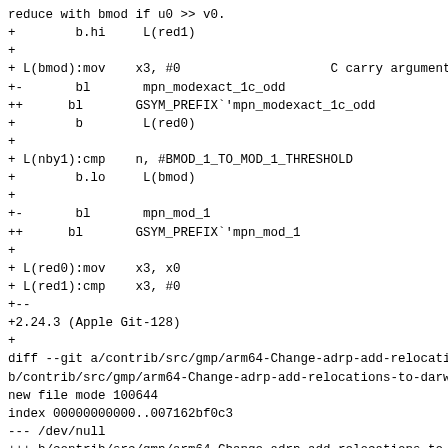reduce with bmod if u0 >> v0.
+        b.hi     L(red1)
+
+ L(bmod):mov    x3, #0                    C carry argument
+-       bl       mpn_modexact_1c_odd
++      bl       GSYM_PREFIX`'mpn_modexact_1c_odd
+        b        L(red0)
+
+ L(nby1):cmp    n, #BMOD_1_TO_MOD_1_THRESHOLD
+        b.lo     L(bmod)
+
+-       bl       mpn_mod_1
++      bl       GSYM_PREFIX`'mpn_mod_1
+
+ L(red0):mov    x3, x0
+ L(red1):cmp    x3, #0
+--
+2.24.3 (Apple Git-128)
+
diff --git a/contrib/src/gmp/arm64-Change-adrp-add-relocations-to-darwin-style.patch
b/contrib/src/gmp/arm64-Change-adrp-add-relocations-to-darwin-style.patch
new file mode 100644
index 00000000000..007162bf0c3
--- /dev/null
+++ b/contrib/src/gmp/arm64-Change-adrp-add-relocations-to-darwin-style.patch
@@ -0,0 +1,28 @@